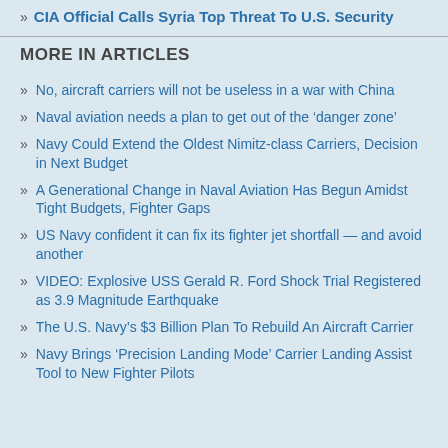CIA Official Calls Syria Top Threat To U.S. Security
MORE IN ARTICLES
No, aircraft carriers will not be useless in a war with China
Naval aviation needs a plan to get out of the ‘danger zone’
Navy Could Extend the Oldest Nimitz-class Carriers, Decision in Next Budget
A Generational Change in Naval Aviation Has Begun Amidst Tight Budgets, Fighter Gaps
US Navy confident it can fix its fighter jet shortfall — and avoid another
VIDEO: Explosive USS Gerald R. Ford Shock Trial Registered as 3.9 Magnitude Earthquake
The U.S. Navy’s $3 Billion Plan To Rebuild An Aircraft Carrier
Navy Brings ‘Precision Landing Mode’ Carrier Landing Assist Tool to New Fighter Pilots